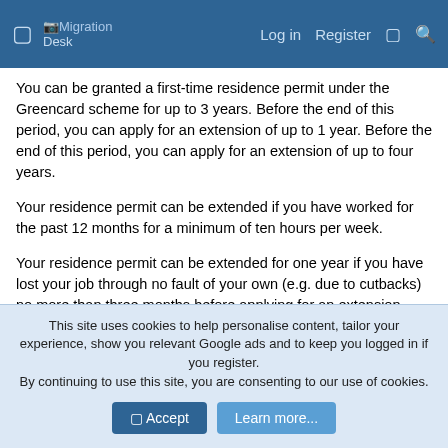Migration Desk | Log in | Register
You can be granted a first-time residence permit under the Greencard scheme for up to 3 years. Before the end of this period, you can apply for an extension of up to 1 year. Before the end of this period, you can apply for an extension of up to four years.
Your residence permit can be extended if you have worked for the past 12 months for a minimum of ten hours per week.
Your residence permit can be extended for one year if you have lost your job through no fault of your own (e.g. due to cutbacks) no more than three months before applying for an extension, and if prior to this, you worked for 12 months for a minimum of ten hours per week.
This site uses cookies to help personalise content, tailor your experience, show you relevant Google ads and to keep you logged in if you register. By continuing to use this site, you are consenting to our use of cookies.